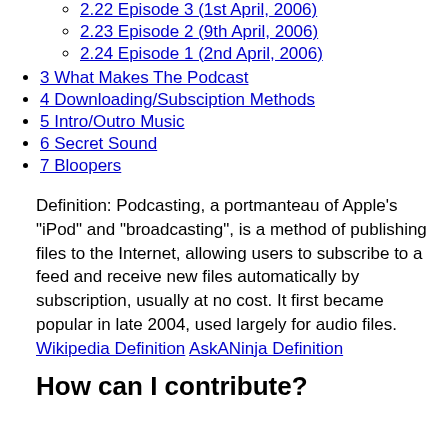2.22 Episode 3 (1st April, 2006)
2.23 Episode 2 (9th April, 2006)
2.24 Episode 1 (2nd April, 2006)
3 What Makes The Podcast
4 Downloading/Subsciption Methods
5 Intro/Outro Music
6 Secret Sound
7 Bloopers
Definition: Podcasting, a portmanteau of Apple's "iPod" and "broadcasting", is a method of publishing files to the Internet, allowing users to subscribe to a feed and receive new files automatically by subscription, usually at no cost. It first became popular in late 2004, used largely for audio files. Wikipedia Definition AskANinja Definition
How can I contribute?